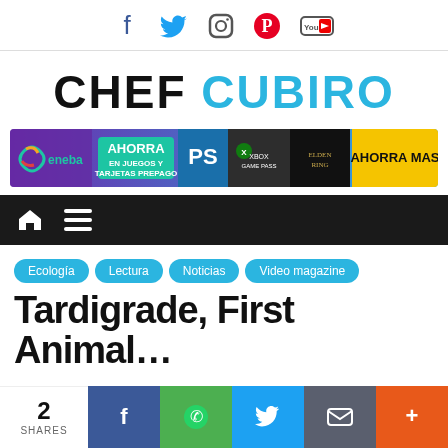Social icons: Facebook, Twitter, Instagram, Pinterest, YouTube
CHEF CUBIRO
[Figure (infographic): Eneba advertisement banner: AHORRA EN JUEGOS Y TARJETAS PREPAGO - AHORRA MAS. Shows PlayStation, Xbox Game Pass, Elden Ring game covers.]
Navigation bar with home icon and menu icon
Ecología
Lectura
Noticias
Video magazine
Tardigrade, First Animal
2 SHARES  Facebook  WhatsApp  Twitter  Email  More